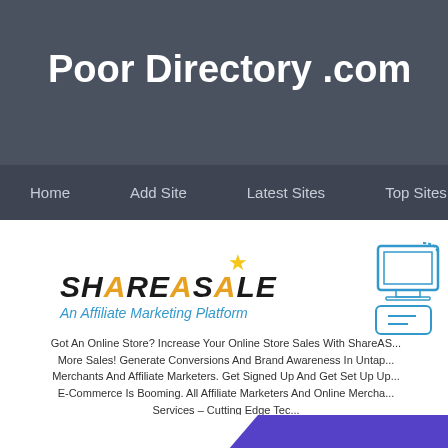Poor Directory .com
Home   Add Site   Latest Sites   Top Sites
[Figure (logo): ShareASale logo with star and monitor icon. Text: SHAREASALE - An Affiliate Marketing Platform]
Got An Online Store? Increase Your Online Store Sales With ShareAS... More Sales! Generate Conversions And Brand Awareness In Untap... Merchants And Affiliate Marketers. Get Signed Up And Get Set Up Up...
E-Commerce Is Booming. All Affiliate Marketers And Online Mercha... Services – Cutting Edge Tec...
We provide well equipped Data Cer...
PEAKERR